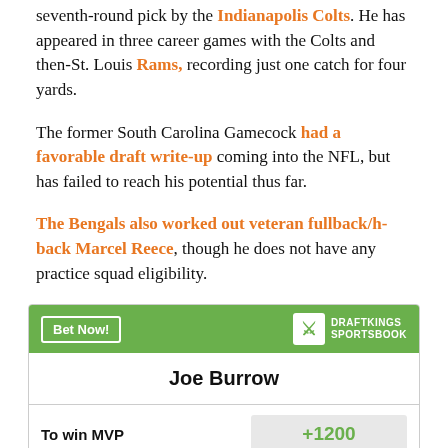seventh-round pick by the Indianapolis Colts. He has appeared in three career games with the Colts and then-St. Louis Rams, recording just one catch for four yards.
The former South Carolina Gamecock had a favorable draft write-up coming into the NFL, but has failed to reach his potential thus far.
The Bengals also worked out veteran fullback/h-back Marcel Reece, though he does not have any practice squad eligibility.
| Joe Burrow |
| To win MVP | +1200 |